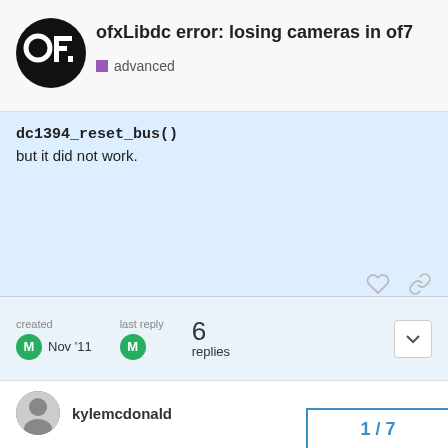ofxLibdc error: losing cameras in of7 | advanced
dc1394_reset_bus()
but it did not work.
created  Nov '11    last reply  M    6 replies
kylemcdonald  Nov '11
i haven't seen this before.

where did you add dc1394_reset_bus(camera)?

i've used this function on linux when initializing the camera, but never on OSX. but it happens inside initCa
1 / 7